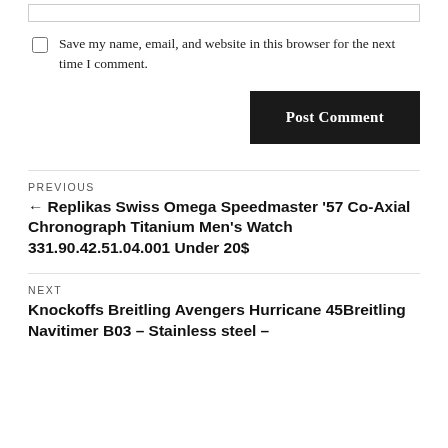Save my name, email, and website in this browser for the next time I comment.
Post Comment
PREVIOUS
← Replikas Swiss Omega Speedmaster '57 Co-Axial Chronograph Titanium Men's Watch 331.90.42.51.04.001 Under 20$
NEXT
Knockoffs Breitling Avengers Hurricane 45Breitling Navitimer B03 – Stainless steel –